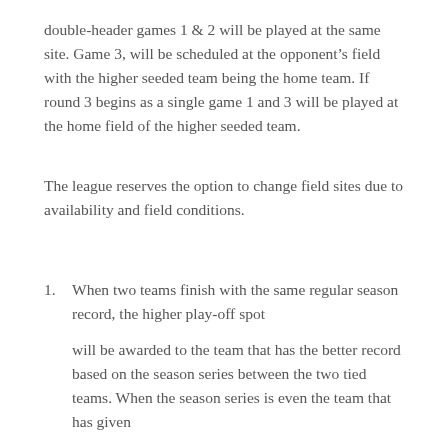double-header games 1 & 2 will be played at the same site.  Game 3, will be scheduled at the opponent's field with the higher seeded team being the home team.  If round 3 begins as a single game 1 and 3 will be played at the home field of the higher seeded team.
The league reserves the option to change field sites due to availability and field conditions.
When two teams finish with the same regular season record, the higher play-off spot
will be awarded to the team that has the better record based on the season series between the two tied teams. When the season series is even the team that has given